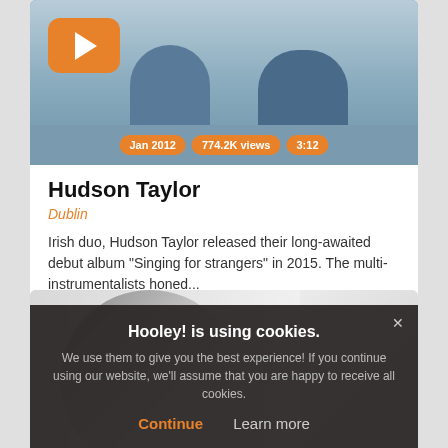[Figure (photo): Video thumbnail showing two people sitting on stairs with an orange YouTube-style play button in top-left and metadata pills at bottom: Jan 2012, 774.2K views, 3:12]
Jan 2012  774.2K views  3:12
Hudson Taylor
Dublin
Irish duo, Hudson Taylor released their long-awaited debut album “Singing for strangers” in 2015. The multi-instrumentalists honed...
Information  Message
[Figure (photo): Photo of a person in a striped shirt with arm raised]
Hooley! is using cookies.
We use them to give you the best experience! If you continue using our website, we’ll assume that you are happy to receive all cookies.
Continue  Learn more